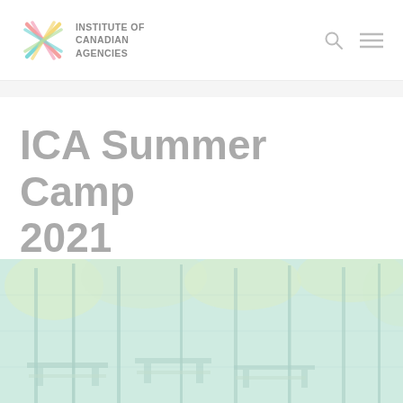INSTITUTE OF CANADIAN AGENCIES
ICA Summer Camp 2021
[Figure (photo): Faded teal and yellow toned photograph of a summer camp outdoor setting with wooden structures, tables, and tall trees in the background.]